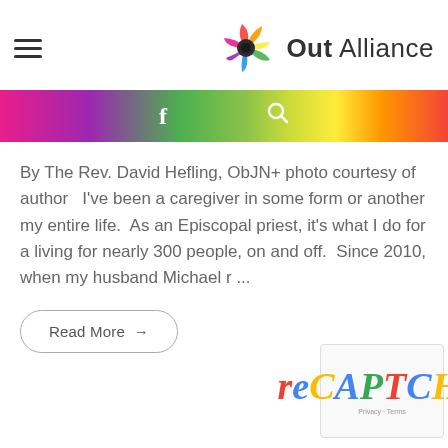[Figure (logo): Out Alliance logo with colorful pinwheel icon and text 'Out Alliance']
[Figure (other): Rainbow gradient navigation bar with Facebook icon and search icon]
By The Rev. David Hefling, ObJN+ photo courtesy of author   I've been a caregiver in some form or another my entire life.  As an Episcopal priest, it's what I do for a living for nearly 300 people, on and off.  Since 2010, when my husband Michael r ...
Read More →
[Figure (other): reCAPTCHA widget with logo and Privacy + Terms text]